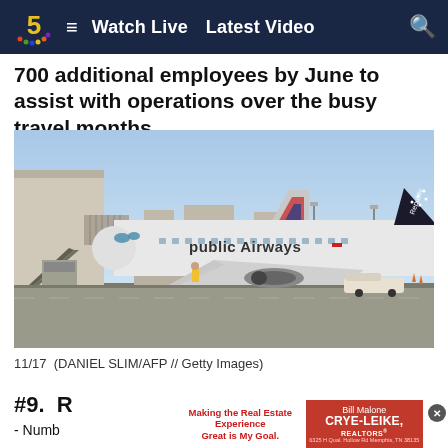Watch Live  Latest Video
700 additional employees by June to assist with operations over the busy travel months.
[Figure (photo): Republic Airways airplane parked at an airport gate with jet bridge attached, American Airlines tail visible in background, ground crew on tarmac]
11/17  (DANIEL SLIM/AFP // Getty Images)
#9. R...
- Numb... ers)
[Figure (other): Advertisement banner: Making the Real Estate Experience Great is My Goal. Bill Malone CRYE-LEIKE REALTORS, 6325 H Qual. Hollow Rd Memphis, TN 38135]